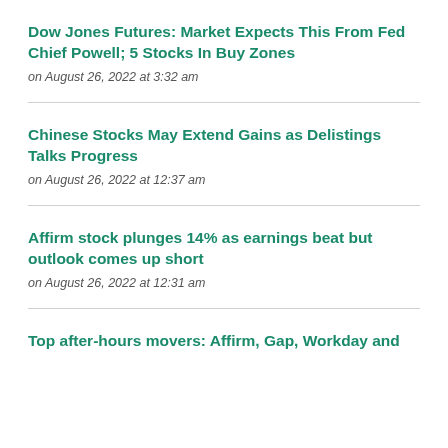Dow Jones Futures: Market Expects This From Fed Chief Powell; 5 Stocks In Buy Zones
on August 26, 2022 at 3:32 am
Chinese Stocks May Extend Gains as Delistings Talks Progress
on August 26, 2022 at 12:37 am
Affirm stock plunges 14% as earnings beat but outlook comes up short
on August 26, 2022 at 12:31 am
Top after-hours movers: Affirm, Gap, Workday and